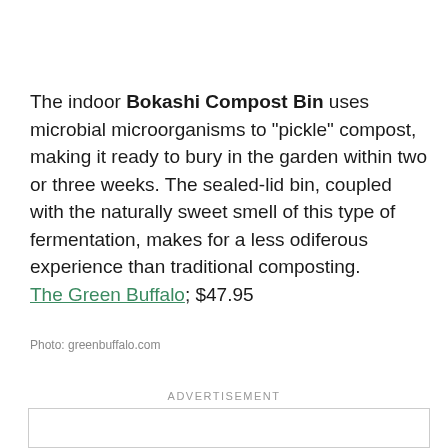The indoor Bokashi Compost Bin uses microbial microorganisms to "pickle" compost, making it ready to bury in the garden within two or three weeks. The sealed-lid bin, coupled with the naturally sweet smell of this type of fermentation, makes for a less odiferous experience than traditional composting. The Green Buffalo; $47.95
Photo: greenbuffalo.com
ADVERTISEMENT